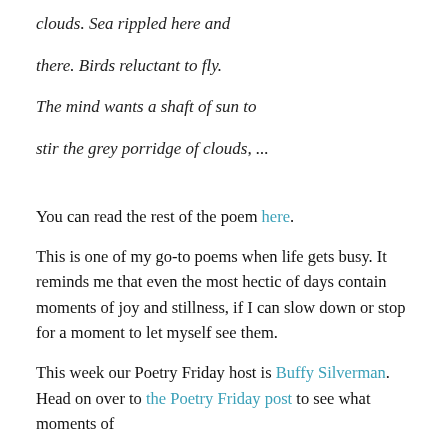clouds. Sea rippled here and
there. Birds reluctant to fly.
The mind wants a shaft of sun to
stir the grey porridge of clouds, ...
You can read the rest of the poem here.
This is one of my go-to poems when life gets busy. It reminds me that even the most hectic of days contain moments of joy and stillness, if I can slow down or stop for a moment to let myself see them.
This week our Poetry Friday host is Buffy Silverman. Head on over to the Poetry Friday post to see what moments of